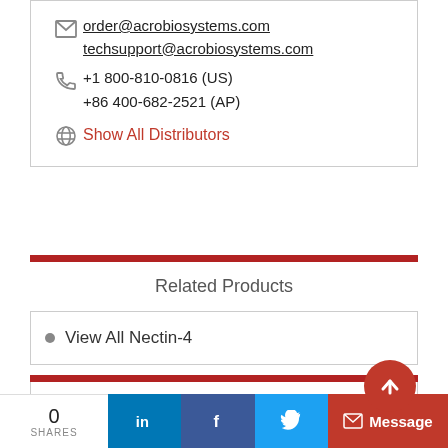order@acrobiosystems.com
techsupport@acrobiosystems.com
+1 800-810-0816 (US)
+86 400-682-2521 (AP)
Show All Distributors
Related Products
View All Nectin-4
New Product Launch
SARS-CoV-2 Mutants
0 SHARES | in | f | (twitter) | Message